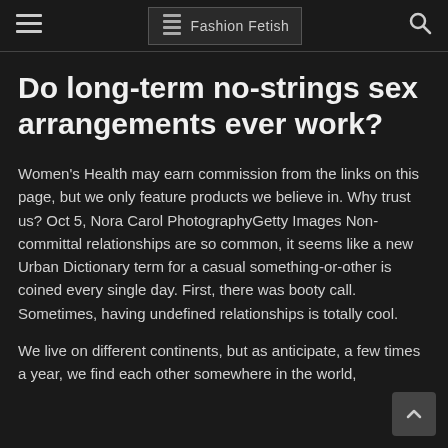≡  Fashion Fetish  🔍
Do long-term no-strings sex arrangements ever work?
Women's Health may earn commission from the links on this page, but we only feature products we believe in. Why trust us? Oct 5, Nora Carol PhotographyGetty Images Non-committal relationships are so common, it seems like a new Urban Dictionary term for a casual something-or-other is coined every single day. First, there was booty call. Sometimes, having undefined relationships is totally cool.
We live on different continents, but as anticipate, a few times a year, we find each other somewhere in the world,